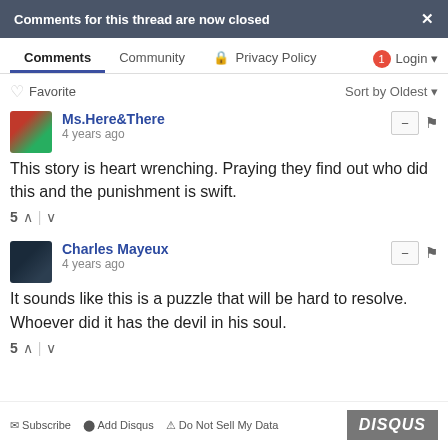Comments for this thread are now closed
Comments | Community | Privacy Policy | Login
♡ Favorite    Sort by Oldest
Ms.Here&There
4 years ago
This story is heart wrenching. Praying they find out who did this and the punishment is swift.
5 ↑ | ↓
Charles Mayeux
4 years ago
It sounds like this is a puzzle that will be hard to resolve. Whoever did it has the devil in his soul.
5 ↑ | ↓
Subscribe   Add Disqus   Do Not Sell My Data   DISQUS